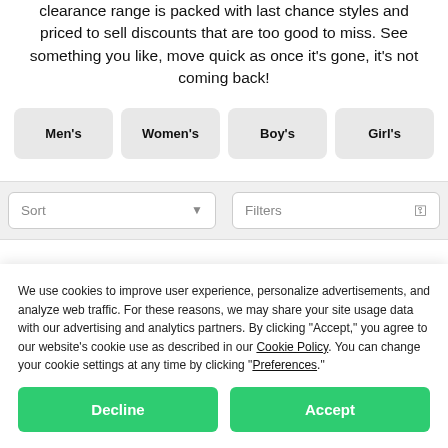clearance range is packed with last chance styles and priced to sell discounts that are too good to miss. See something you like, move quick as once it’s gone, it’s not coming back!
Men's
Women's
Boy's
Girl's
Sort | Filters
We use cookies to improve user experience, personalize advertisements, and analyze web traffic. For these reasons, we may share your site usage data with our advertising and analytics partners. By clicking “Accept,” you agree to our website’s cookie use as described in our Cookie Policy. You can change your cookie settings at any time by clicking “Preferences.”
Decline
Accept